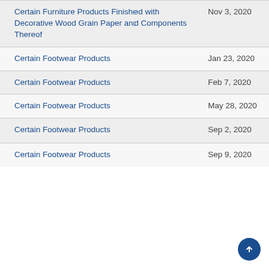| Product | Date |
| --- | --- |
| Certain Furniture Products Finished with Decorative Wood Grain Paper and Components Thereof | Nov 3, 2020 |
| Certain Footwear Products | Jan 23, 2020 |
| Certain Footwear Products | Feb 7, 2020 |
| Certain Footwear Products | May 28, 2020 |
| Certain Footwear Products | Sep 2, 2020 |
| Certain Footwear Products | Sep 9, 2020 |